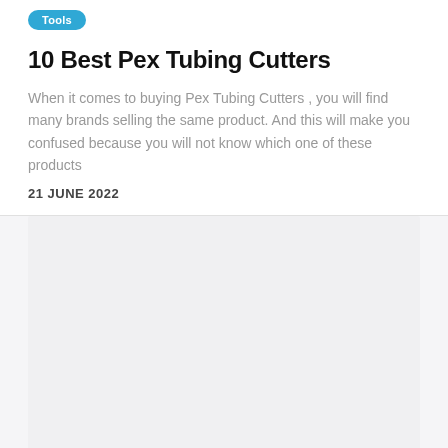Tools
10 Best Pex Tubing Cutters
When it comes to buying Pex Tubing Cutters , you will find many brands selling the same product. And this will make you confused because you will not know which one of these products
21 JUNE 2022
[Figure (photo): Blank/empty image placeholder area with light grey background]
Tools